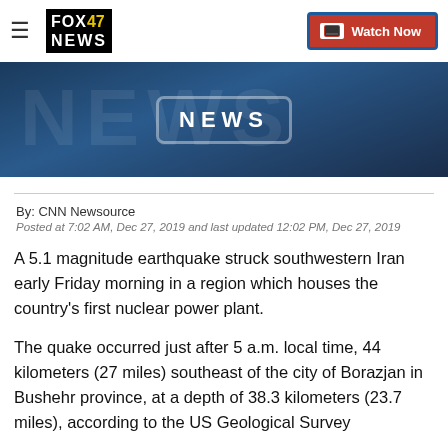FOX 47 NEWS | Watch Now
[Figure (photo): Dark blue TV news broadcast background with 'NEWS' text in large transparent letters and a rounded rectangle outline, FOX 47 News hero image]
By: CNN Newsource
Posted at 7:02 AM, Dec 27, 2019 and last updated 12:02 PM, Dec 27, 2019
A 5.1 magnitude earthquake struck southwestern Iran early Friday morning in a region which houses the country's first nuclear power plant.
The quake occurred just after 5 a.m. local time, 44 kilometers (27 miles) southeast of the city of Borazjan in Bushehr province, at a depth of 38.3 kilometers (23.7 miles), according to the US Geological Survey